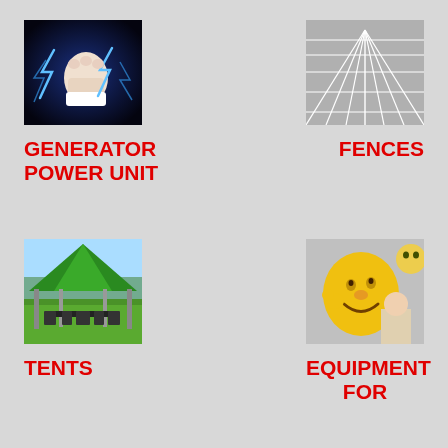[Figure (photo): A fist with lightning bolts around it against a dark blue background — representing a generator or power unit]
GENERATOR POWER UNIT
[Figure (photo): A grid or fence pattern with perspective lines in black and white — representing fences]
FENCES
[Figure (photo): A green gazebo tent with black chairs and table on a grassy area — representing tents]
TENTS
[Figure (photo): A large yellow inflatable smiley-face character being held by a person at an outdoor event — representing equipment for entertainment]
EQUIPMENT FOR